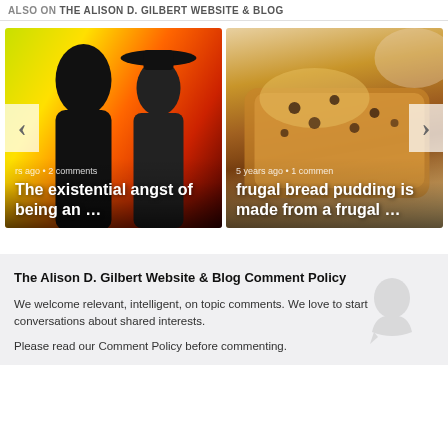ALSO ON THE ALISON D. GILBERT WEBSITE & BLOG
[Figure (photo): Black and white photo of two men with hats against a colorful abstract background. Overlay text: 'rs ago • 2 comments' and title 'The existential angst of being an …']
[Figure (photo): Close-up food photo of bread pudding with glaze and raisins on a plate. Overlay text: '5 years ago • 1 comment' and title 'frugal bread pudding is made from a frugal …']
The Alison D. Gilbert Website & Blog Comment Policy
We welcome relevant, intelligent, on topic comments. We love to start conversations about shared interests.
Please read our Comment Policy before commenting.